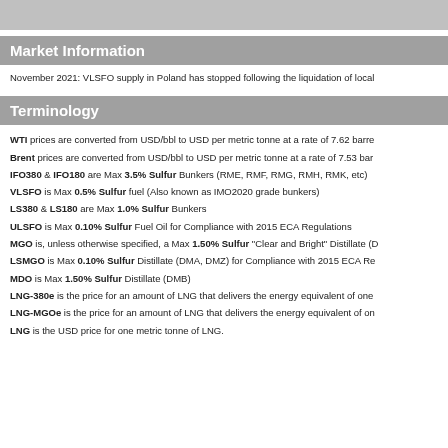Market Information
November 2021: VLSFO supply in Poland has stopped following the liquidation of local
Terminology
WTI prices are converted from USD/bbl to USD per metric tonne at a rate of 7.62 barre
Brent prices are converted from USD/bbl to USD per metric tonne at a rate of 7.53 bar
IFO380 & IFO180 are Max 3.5% Sulfur Bunkers (RME, RMF, RMG, RMH, RMK, etc)
VLSFO is Max 0.5% Sulfur fuel (Also known as IMO2020 grade bunkers)
LS380 & LS180 are Max 1.0% Sulfur Bunkers
ULSFO is Max 0.10% Sulfur Fuel Oil for Compliance with 2015 ECA Regulations
MGO is, unless otherwise specified, a Max 1.50% Sulfur "Clear and Bright" Distillate (D
LSMGO is Max 0.10% Sulfur Distillate (DMA, DMZ) for Compliance with 2015 ECA Re
MDO is Max 1.50% Sulfur Distillate (DMB)
LNG-380e is the price for an amount of LNG that delivers the energy equivalent of one
LNG-MGOe is the price for an amount of LNG that delivers the energy equivalent of on
LNG is the USD price for one metric tonne of LNG.